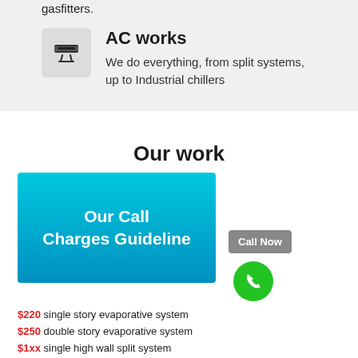gasfitters.
AC works
We do everything, from split systems, up to Industrial chillers
Our work
[Figure (illustration): Blue gradient banner with white bold text reading 'Our Call Charges Guideline']
Call Now
$220 single story evaporative system
$250 double story evaporative system
$1xx single high wall split system